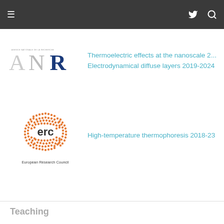≡  🐦 🔍
[Figure (logo): ANR (Agence Nationale de la Recherche) logo with stylized A, N, R letters in dark blue/grey]
Thermoelectric effects at the nanoscale 2...
Electrodynamical diffuse layers 2019-2024
[Figure (logo): European Research Council (ERC) logo with orange dotted pattern and 'erc' text, caption: European Research Council]
High-temperature thermophoresis 2018-23
Teaching
CV